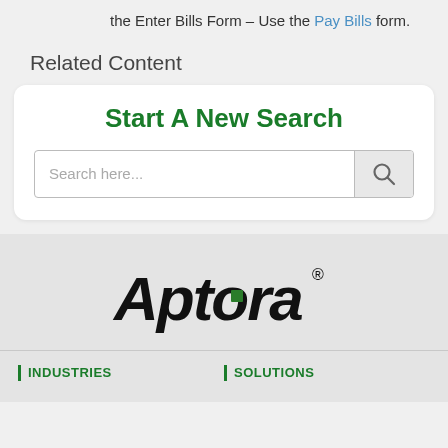the Enter Bills Form – Use the Pay Bills form.
Related Content
[Figure (screenshot): Search widget with title 'Start A New Search' and a search input box with placeholder 'Search here...' and a search icon button.]
[Figure (logo): Aptora logo in black italic font with a green square accent, followed by registered trademark symbol.]
| INDUSTRIES   | SOLUTIONS